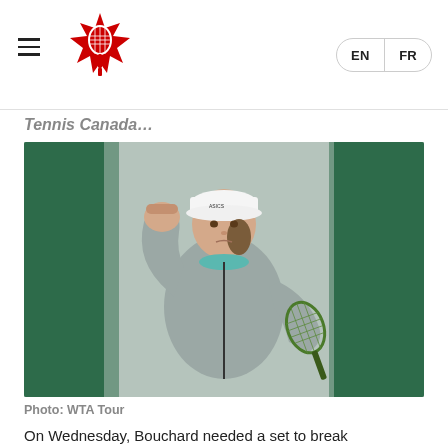Tennis Canada logo with EN / FR language switcher
…Tennis Canada…
[Figure (photo): Female tennis player in gray jacket and white ASICS cap, pumping fist in celebration on a clay court with green court walls in background, holding a green tennis racket.]
Photo: WTA Tour
On Wednesday, Bouchard needed a set to break